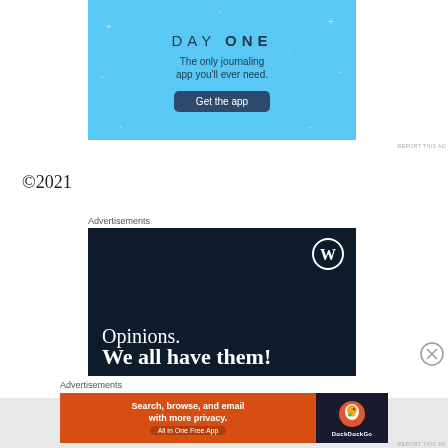[Figure (screenshot): Day One journaling app advertisement with light blue background. Shows 'DAY ONE' title, tagline 'The only journaling app you'll ever need.' and a dark blue 'Get the app' button.]
REPORT THIS AD
©2021
Advertisements
[Figure (screenshot): WordPress advertisement with dark navy background showing WordPress logo (W in circle), text 'Opinions.' and bold 'We all have them!']
[Figure (logo): Close/dismiss button (X in circle)]
Advertisements
[Figure (screenshot): DuckDuckGo advertisement with orange left side reading 'Search, browse, and email with more privacy. All in One Free App' and dark right side with DuckDuckGo logo.]
REPORT THIS AD